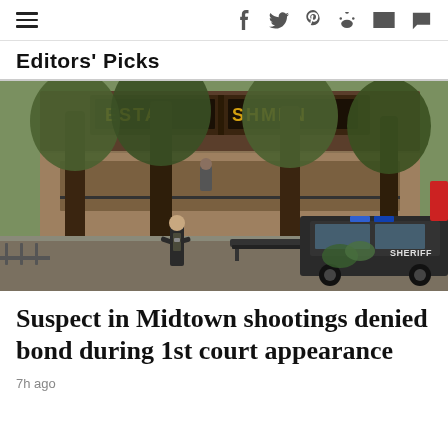Editors' Picks
[Figure (photo): Police officers and a Sheriff SUV with blue lights on stand in a city plaza area in front of a restaurant building with trees, responding to the Midtown shootings.]
Suspect in Midtown shootings denied bond during 1st court appearance
7h ago